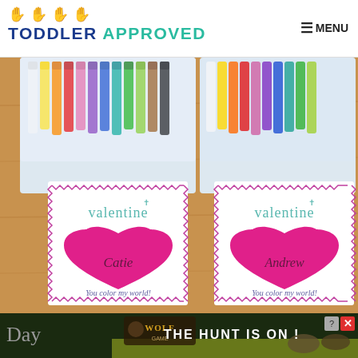[Figure (logo): Toddler Approved logo with colorful handprint icons and two-tone text: 'TODDLER' in dark blue, 'APPROVED' in teal/green]
≡ MENU
[Figure (photo): Photo of two Valentine's Day cards attached to crayon boxes on a wooden table. Left card says 'valentine Catie You color my world!' with a pink heart. Right card says 'valentine Andrew You color my world!' with a pink heart. Both cards have decorative zigzag borders.]
[Figure (photo): Advertisement banner: Wolf game ad with wolves and text 'THE HUNT IS ON !' with close/help icons]
Day